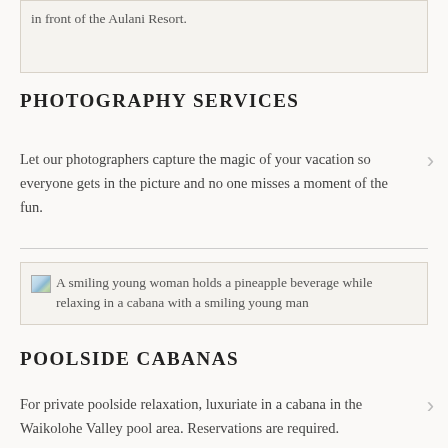[Figure (photo): A young man and a young woman walk along the beach in front of the Aulani Resort. Image shown as broken/alt text.]
A young man and the young woman walk along the beach in front of the Aulani Resort.
PHOTOGRAPHY SERVICES
Let our photographers capture the magic of your vacation so everyone gets in the picture and no one misses a moment of the fun.
[Figure (photo): A smiling young woman holds a pineapple beverage while relaxing in a cabana with a smiling young man. Image shown as broken/alt text.]
A smiling young woman holds a pineapple beverage while relaxing in a cabana with a smiling young man
POOLSIDE CABANAS
For private poolside relaxation, luxuriate in a cabana in the Waikolohe Valley pool area. Reservations are required.